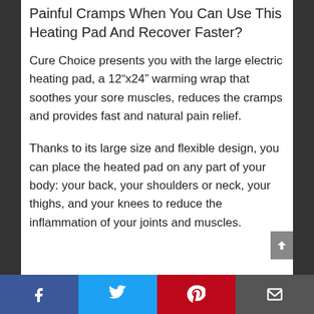Painful Cramps When You Can Use This Heating Pad And Recover Faster?
Cure Choice presents you with the large electric heating pad, a 12”x24” warming wrap that soothes your sore muscles, reduces the cramps and provides fast and natural pain relief.
Thanks to its large size and flexible design, you can place the heated pad on any part of your body: your back, your shoulders or neck, your thighs, and your knees to reduce the inflammation of your joints and muscles.